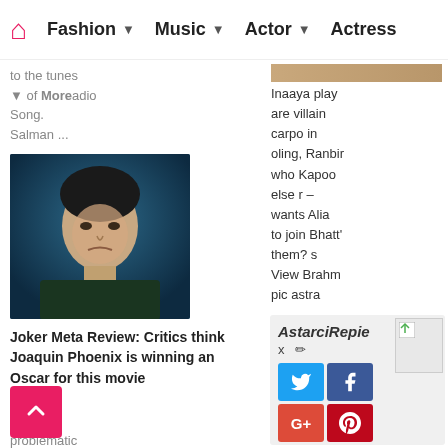🏠 Fashion ▼ Music ▼ Actor ▼ Actress
to the tunes of More radio Song. Salman ...
[Figure (photo): Dark photo of Joaquin Phoenix as Joker character looking sullen against a blue-tinted background]
Joker Meta Review: Critics think Joaquin Phoenix is winning an Oscar for this movie which is otherwise problematic
Inaaya play are villain carpo in oling, Ranbir who Kapoor else – wants Alia to join Bhatt's them? Brahm View astra pic
AstarciRepie x ✏
[Figure (screenshot): Social sharing widget with Twitter, Facebook, Google+, and Pinterest buttons, plus a small image placeholder]